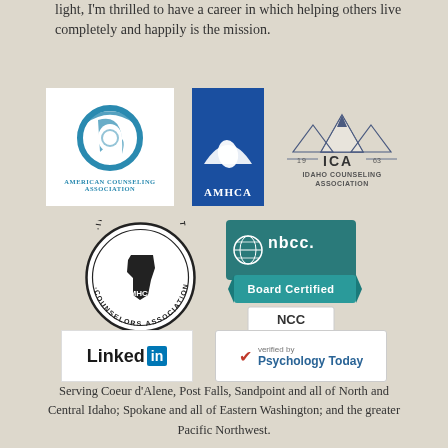light, I'm thrilled to have a career in which helping others live completely and happily is the mission.
[Figure (logo): American Counseling Association logo - circular teal logo with ACA text below]
[Figure (logo): AMHCA logo - blue rectangle with white leaf and AMHCA text]
[Figure (logo): Idaho Counseling Association (ICA) logo - mountain peaks with 19 ICA 63 text]
[Figure (logo): Idaho Mental Health Counselors Association (IMHCA) circular badge logo]
[Figure (logo): NBCC Board Certified NCC logo - teal badge with globe icon]
[Figure (logo): LinkedIn logo]
[Figure (logo): Psychology Today verified badge]
Serving Coeur d'Alene, Post Falls, Sandpoint and all of North and Central Idaho; Spokane and all of Eastern Washington; and the greater Pacific Northwest.